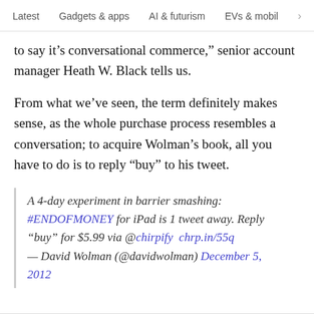Latest   Gadgets & apps   AI & futurism   EVs & mobil  >
to say it’s conversational commerce,” senior account manager Heath W. Black tells us.

From what we’ve seen, the term definitely makes sense, as the whole purchase process resembles a conversation; to acquire Wolman’s book, all you have to do is to reply “buy” to his tweet.
A 4-day experiment in barrier smashing: #ENDOFMONEY for iPad is 1 tweet away. Reply “buy” for $5.99 via @chirpify chrp.in/55q — David Wolman (@davidwolman) December 5, 2012